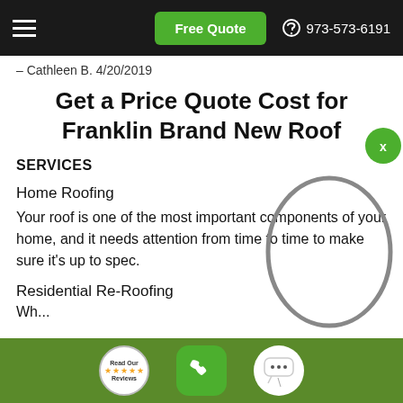Free Quote  973-573-6191
– Cathleen B. 4/20/2019
Get a Price Quote Cost for Franklin Brand New Roof
SERVICES
Home Roofing
Your roof is one of the most important components of your home, and it needs attention from time to time to make sure it's up to spec.
Residential Re-Roofing
[Figure (illustration): Gray oval/ellipse annotation drawn over the page content, with a green circular X button in the top right corner]
Read Our Reviews | Phone button | Chat button